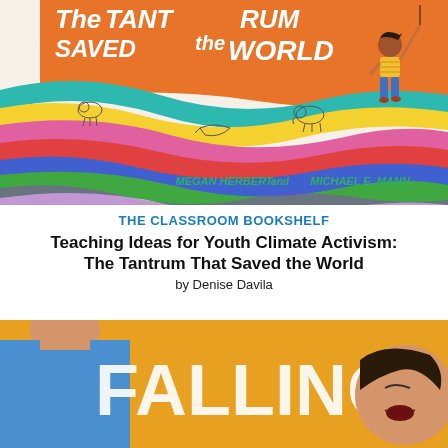[Figure (illustration): Book cover of 'The Tantrum That Saved the World' by Megan Herbert and Michael E. Mann. Shows a girl running and holding a colorful waving flag/banner with the book title text in white on orange background. Colorful swirling ribbons with animals drawn on them.]
THE CLASSROOM BOOKSHELF
Teaching Ideas for Youth Climate Activism: The Tantrum That Saved the World
by Denise Davila
[Figure (illustration): Partial book cover image showing two illustrated characters and large white text 'FALLING' on an orange/golden background.]